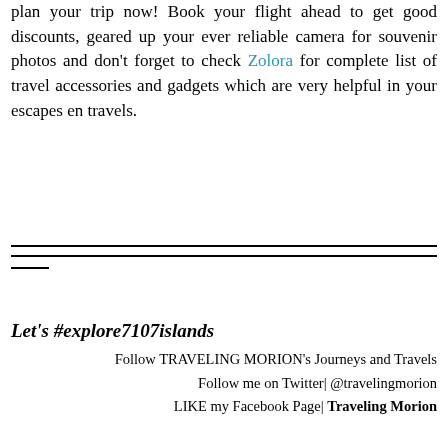plan your trip now! Book your flight ahead to get good discounts, geared up your ever reliable camera for souvenir photos and don't forget to check Zolora for complete list of travel accessories and gadgets which are very helpful in your escapes en travels.
Let's #explore7107islands
Follow TRAVELING MORION's Journeys and Travels
Follow me on Twitter| @travelingmorion
LIKE my Facebook Page| Traveling Morion